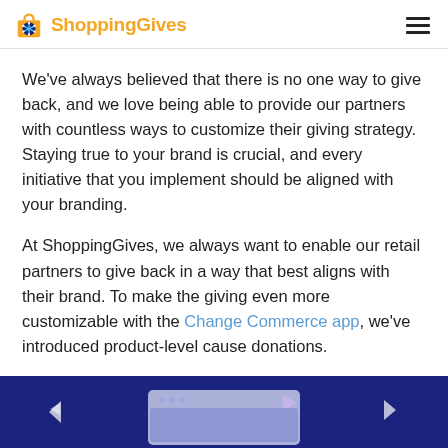ShoppingGives
We've always believed that there is no one way to give back, and we love being able to provide our partners with countless ways to customize their giving strategy. Staying true to your brand is crucial, and every initiative that you implement should be aligned with your branding.
At ShoppingGives, we always want to enable our retail partners to give back in a way that best aligns with their brand. To make the giving even more customizable with the Change Commerce app, we've introduced product-level cause donations.
[Figure (illustration): Dark navy blue banner at bottom of page showing a browser/app mockup illustration with small decorative triangle shapes in pink and white on the sides]